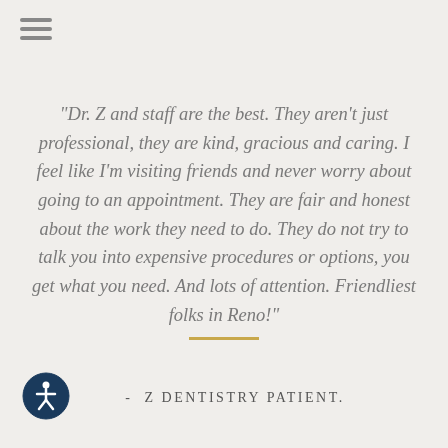[Figure (illustration): Hamburger menu icon with three horizontal lines in gray]
"Dr. Z and staff are the best. They aren't just professional, they are kind, gracious and caring. I feel like I'm visiting friends and never worry about going to an appointment. They are fair and honest about the work they need to do. They do not try to talk you into expensive procedures or options, you get what you need. And lots of attention. Friendliest folks in Reno!"
[Figure (other): Gold/yellow horizontal divider line]
[Figure (logo): Accessibility icon: circular dark blue button with white wheelchair/person figure]
- Z DENTISTRY PATIENT.